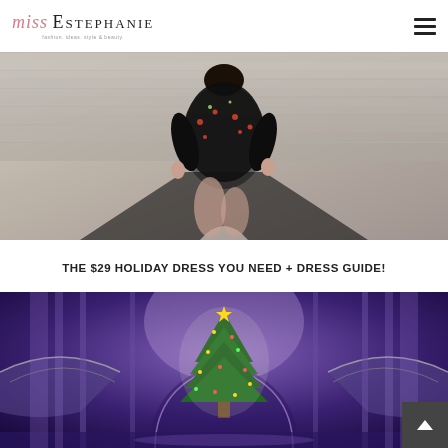miss Estephanie
[Figure (photo): Woman wearing a black sheer embroidered floral/rose dress seated on stone steps, photographed from above]
THE $29 HOLIDAY DRESS YOU NEED + DRESS GUIDE!
[Figure (photo): Interior of a shopping mall decorated for Christmas with a large lit Christmas tree in the center, purple ambient lighting, curved glass balconies visible]